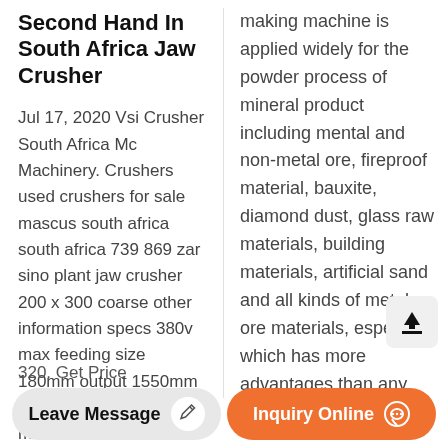Second Hand In South Africa Jaw Crusher
Jul 17, 2020 Vsi Crusher South Africa Mc Machinery. Crushers used crushers for sale mascus south africa south africa 739 869 zar sino plant jaw crusher 200 x 300 coarse other information specs 380v max feeding size 180mm output 1550mm capacity 26 ton hour motor 75kw
making machine is applied widely for the powder process of mineral product including mental and non-metal ore, fireproof material, bauxite, diamond dust, glass raw materials, building materials, artificial sand and all kinds of metal ore materials, especially which has more advantages than any other machines in processing the more and
320. Get Price
Leave Message
Inquiry Online